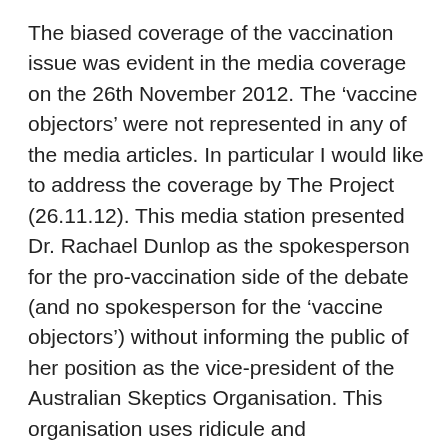The biased coverage of the vaccination issue was evident in the media coverage on the 26th November 2012. The ‘vaccine objectors’ were not represented in any of the media articles. In particular I would like to address the coverage by The Project (26.11.12). This media station presented Dr. Rachael Dunlop as the spokesperson for the pro-vaccination side of the debate (and no spokesperson for the ‘vaccine objectors’) without informing the public of her position as the vice-president of the Australian Skeptics Organisation. This organisation uses ridicule and misinformation to influence public opinion and this has been documented on my website here: